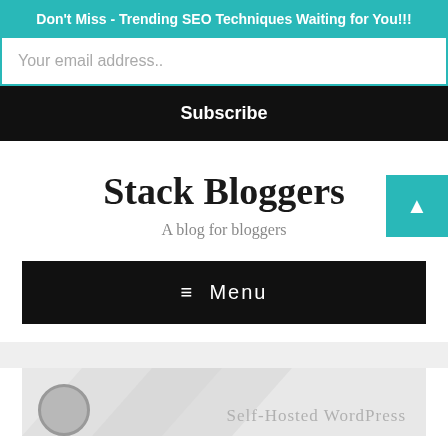Don't Miss - Trending SEO Techniques Waiting for You!!!
Your email address..
Subscribe
Stack Bloggers
A blog for bloggers
≡  Menu
[Figure (screenshot): Partially visible blog post thumbnail with gray background showing 'Self-Hosted WordPress' text and a circular logo]